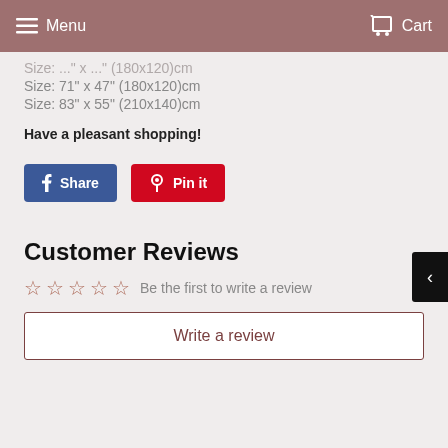Menu   Cart
Size: 71" x 47" (180x120)cm
Size: 83" x 55" (210x140)cm
Have a pleasant shopping!
Share   Pin it
Customer Reviews
Be the first to write a review
Write a review